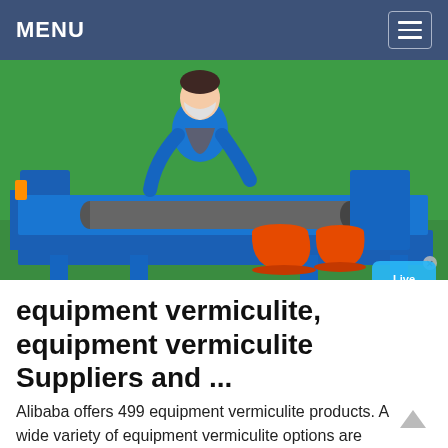MENU
[Figure (photo): Woman in blue uniform and face mask operating industrial blue machine with a tube/roller and orange buckets, against a green background. A Live Chat bubble is visible in the bottom right corner of the image.]
equipment vermiculite, equipment vermiculite Suppliers and ...
Alibaba offers 499 equipment vermiculite products. A wide variety of equipment vermiculite options are available to you, such as chemical industry, materials, and ...